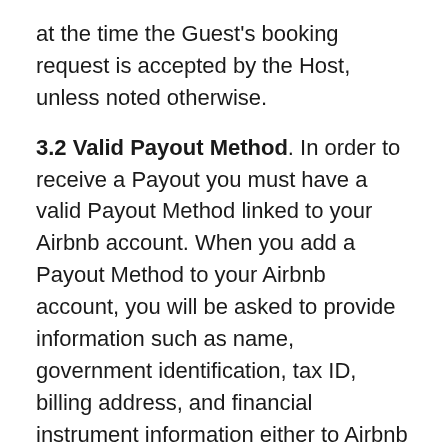at the time the Guest's booking request is accepted by the Host, unless noted otherwise.
3.2 Valid Payout Method. In order to receive a Payout you must have a valid Payout Method linked to your Airbnb account. When you add a Payout Method to your Airbnb account, you will be asked to provide information such as name, government identification, tax ID, billing address, and financial instrument information either to Airbnb Payments or its third-party payment processor(s). Depending on the Payout Method selected additional information may be required, such as: residential address, name on the account, account type, routing number, account number, email address, payout currency, identification number and account information associated with a particular payment